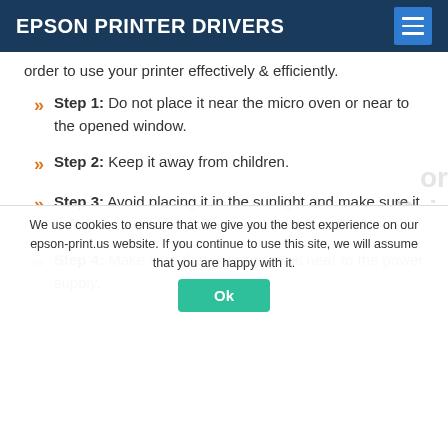EPSON PRINTER DRIVERS
order to use your printer effectively & efficiently.
Step 1: Do not place it near the micro oven or near to the opened window.
Step 2: Keep it away from children.
Step 3: Avoid placing it in the sunlight and make sure it is free from dust, heat and away from water.
Step 4: Make sure that your printer is near to the power supply.
We use cookies to ensure that we give you the best experience on our epson-print.us website. If you continue to use this site, we will assume that you are happy with it.